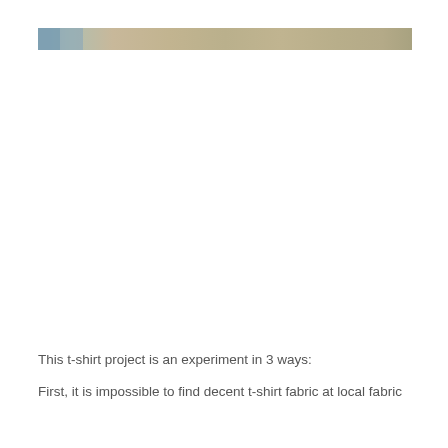[Figure (photo): A narrow horizontal strip photograph showing what appears to be fabric or textile material with muted blue-gray and tan/brown tones.]
This t-shirt project is an experiment in 3 ways:
First, it is impossible to find decent t-shirt fabric at local fabric